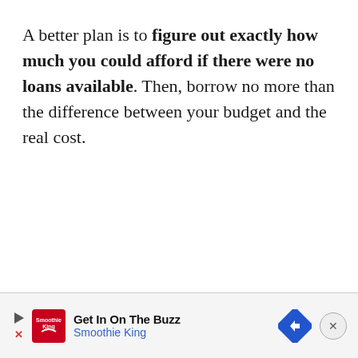A better plan is to figure out exactly how much you could afford if there were no loans available. Then, borrow no more than the difference between your budget and the real cost.
[Figure (other): Advertisement banner for Smoothie King with play button, X close icon, Smoothie King logo, text 'Get In On The Buzz / Smoothie King', a blue diamond navigation arrow button, and a circular close (X) button.]